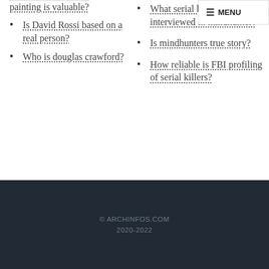painting is valuable?
Is David Rossi based on a real person?
Who is douglas crawford?
What serial killers are interviewed in mindhunter?
Is mindhunters true story?
How reliable is FBI profiling of serial killers?
© ARCHINFOS.COM 2020-2022